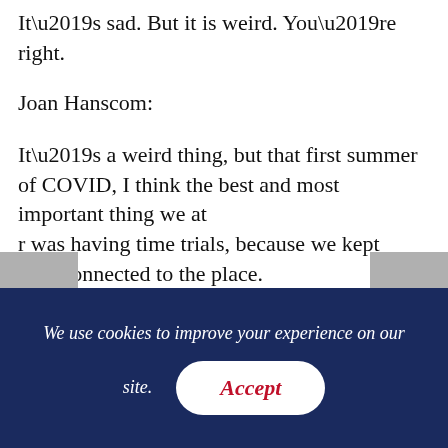It’s sad. But it is weird. You’re right.
Joan Hanscom:
It’s a weird thing, but that first summer of COVID, I think the best and most important thing we at [Ve]r was having time trials, because we kept [pe]ople connected to the place.
Rick Beuttel:
And it gave people something to focus on,
We use cookies to improve your experience on our site.
Accept